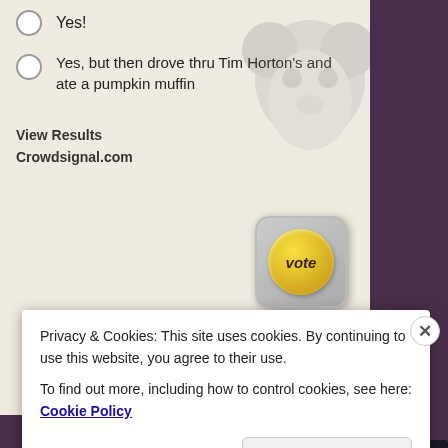Yes!
Yes, but then drove thru Tim Horton's and ate a pumpkin muffin
View Results
Crowdsignal.com
Advertisements
[Figure (screenshot): Ad banner for WordPress online course: 'Launch your online course with WordPress' with 'Learn More' CTA and a tree/person icon]
*Planet Fitness puts out free bagels, cream cheese, and
Privacy & Cookies: This site uses cookies. By continuing to use this website, you agree to their use.
To find out more, including how to control cookies, see here: Cookie Policy
Close and accept